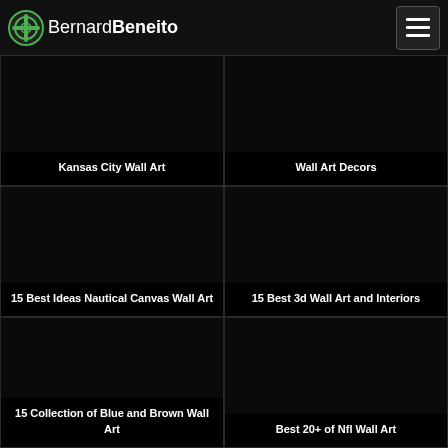BernardBeneito
[Figure (screenshot): Black card with text: Kansas City Wall Art]
[Figure (screenshot): Black card with text: Wall Art Decors]
[Figure (screenshot): Black card with text: 15 Best Ideas Nautical Canvas Wall Art]
[Figure (screenshot): Black card with text: 15 Best 3d Wall Art and Interiors]
[Figure (screenshot): Black card with text: 15 Collection of Blue and Brown Wall Art]
[Figure (screenshot): Black card with text: Best 20+ of Nfl Wall Art]